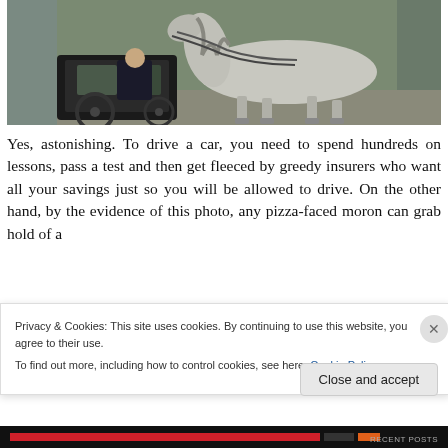[Figure (photo): A grey/white horse pulling a carriage, with a person seated in the carriage. The horse is harnessed with reins visible, street scene outdoors.]
Yes, astonishing. To drive a car, you need to spend hundreds on lessons, pass a test and then get fleeced by greedy insurers who want all your savings just so you will be allowed to drive. On the other hand, by the evidence of this photo, any pizza-faced moron can grab hold of a
Privacy & Cookies: This site uses cookies. By continuing to use this website, you agree to their use.
To find out more, including how to control cookies, see here: Cookie Policy
Close and accept